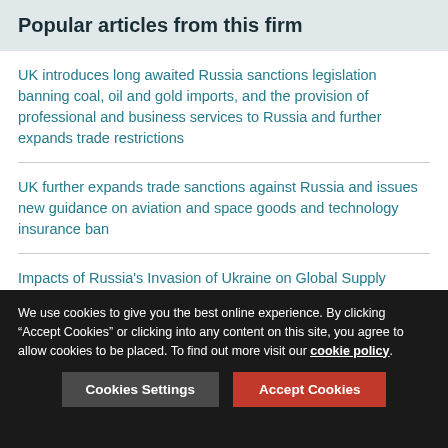Popular articles from this firm
UK introduces long awaited Russia sanctions legislation banning coal, oil and gold imports, and the provision of professional and business services to Russia and further expands trade restrictions
UK further expands trade sanctions against Russia and issues new guidance on aviation and space goods and technology insurance ban
Impacts of Russia's Invasion of Ukraine on Global Supply Chains, Part I
UK “Red Alert” on Russian Financial Sanctions Evasion Offers a Timely Reminder of the Importance of Risk-Based Due Diligence
We use cookies to give you the best online experience. By clicking “Accept Cookies” or clicking into any content on this site, you agree to allow cookies to be placed. To find out more visit our cookie policy.